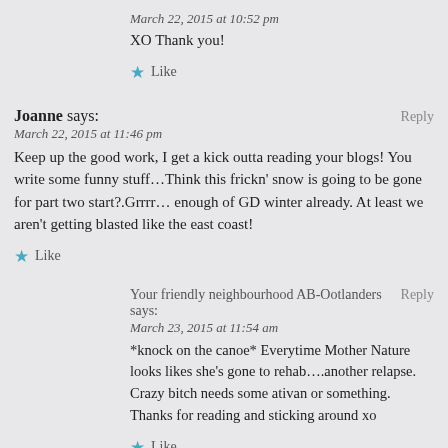March 22, 2015 at 10:52 pm
XO Thank you!
Like
Joanne says:
Reply
March 22, 2015 at 11:46 pm
Keep up the good work, I get a kick outta reading your blogs! You write some funny stuff…Think this frickn' snow is going to be gone for part two start?.Grrrr… enough of GD winter already. At least we aren't getting blasted like the east coast!
Like
Your friendly neighbourhood AB-Ootlanders says:
Reply
March 23, 2015 at 11:54 am
*knock on the canoe* Everytime Mother Nature looks likes she's gone to rehab….another relapse. Crazy bitch needs some ativan or something. Thanks for reading and sticking around xo
Like